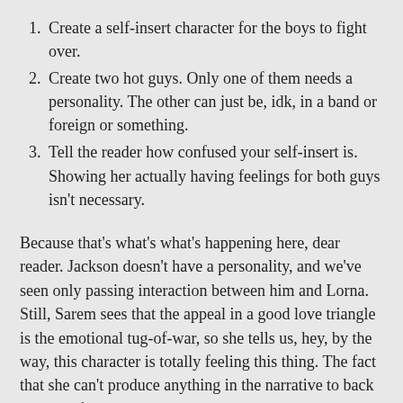Create a self-insert character for the boys to fight over.
Create two hot guys. Only one of them needs a personality. The other can just be, idk, in a band or foreign or something.
Tell the reader how confused your self-insert is. Showing her actually having feelings for both guys isn't necessary.
Because that's what's what's happening here, dear reader. Jackson doesn't have a personality, and we've seen only passing interaction between him and Lorna. Still, Sarem sees that the appeal in a good love triangle is the emotional tug-of-war, so she tells us, hey, by the way, this character is totally feeling this thing. The fact that she can't produce anything in the narrative to back up those feelings is inconsequential.